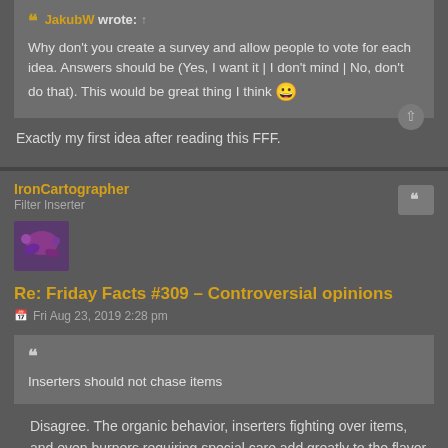JakubW wrote: ↑
Why don't you create a survey and allow people to vote for each idea. Answers should be (Yes, I want it | I don't mind | No, don't do that). This would be great thing I think 😀
Exactly my first idea after reading this FFF.
IronCartographer
Filter Inserter
Re: Friday Facts #309 – Controversial opinions
Fri Aug 23, 2019 2:28 pm
Inserters should not chase items
Disagree. The organic behavior, inserters fighting over items, and even burners requiring special care add greatly to the flavor of the game.